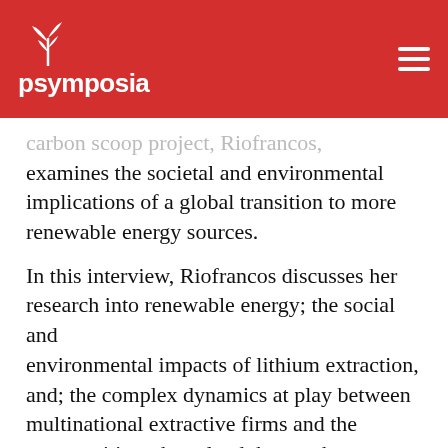psymposia
carbon scoop project, Riofrancos, examines the societal and environmental implications of a global transition to more renewable energy sources.
In this interview, Riofrancos discusses her research into renewable energy; the social and environmental impacts of lithium extraction, and; the complex dynamics at play between multinational extractive firms and the communities whose land they seek to extract resources from.